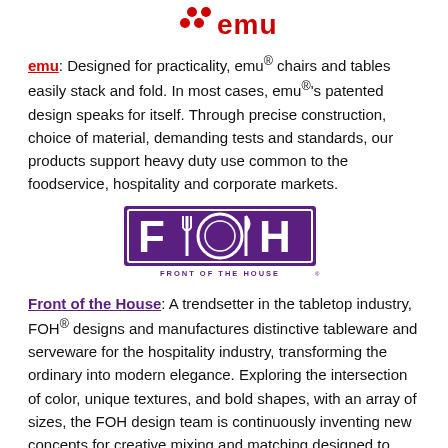[Figure (logo): emu brand logo with red dots and stylized red text]
emu: Designed for practicality, emu® chairs and tables easily stack and fold. In most cases, emu®'s patented design speaks for itself. Through precise construction, choice of material, demanding tests and standards, our products support heavy duty use common to the foodservice, hospitality and corporate markets.
[Figure (logo): Front of the House (FOH) logo with purple rectangle containing fork, plate, and knife icons and the text FRONT OF THE HOUSE]
Front of the House: A trendsetter in the tabletop industry, FOH® designs and manufactures distinctive tableware and serveware for the hospitality industry, transforming the ordinary into modern elegance. Exploring the intersection of color, unique textures, and bold shapes, with an array of sizes, the FOH design team is continuously inventing new concepts for creative mixing and matching designed to stimulate the senses. All FOH products reflect remarkable craftsmanship, durability and value.